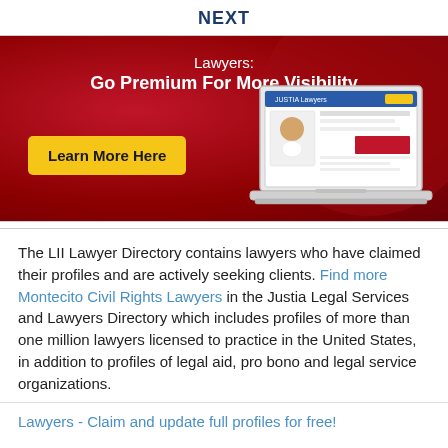NEXT
[Figure (infographic): Red banner advertisement for Justia Lawyers premium service. Shows text 'Lawyers: Go Premium For More Visibility' with a yellow 'Learn More Here' button and an illustration of a laptop displaying a Justia Lawyers profile page.]
The LII Lawyer Directory contains lawyers who have claimed their profiles and are actively seeking clients. Find more Montecito Civil Rights Lawyers in the Justia Legal Services and Lawyers Directory which includes profiles of more than one million lawyers licensed to practice in the United States, in addition to profiles of legal aid, pro bono and legal service organizations.
Lawyers - Claim and update full profiles for free!